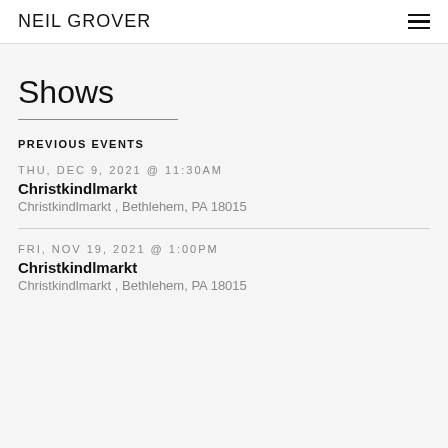NEIL GROVER
Shows
PREVIOUS EVENTS
THU, DEC 9, 2021 @ 11:30AM
Christkindlmarkt
Christkindlmarkt , Bethlehem, PA 18015
FRI, NOV 19, 2021 @ 1:00PM
Christkindlmarkt
Christkindlmarkt , Bethlehem, PA 18015